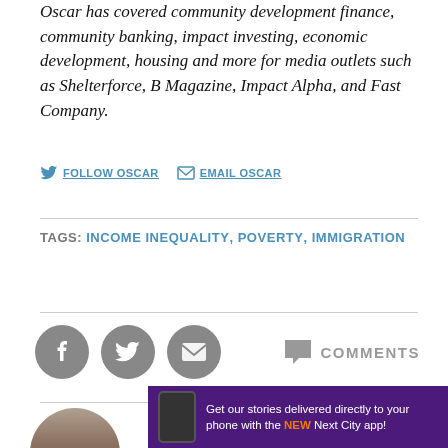Oscar has covered community development finance, community banking, impact investing, economic development, housing and more for media outlets such as Shelterforce, B Magazine, Impact Alpha, and Fast Company.
FOLLOW OSCAR | EMAIL OSCAR
TAGS: INCOME INEQUALITY, POVERTY, IMMIGRATION
[Figure (infographic): Social share icons: Facebook, Twitter, Email circles in grey, and a Comments button with speech bubble icon]
[Figure (photo): Circular avatar photo of a man (Oscar)]
RECOMMENDED READS
[Figure (infographic): Ad banner: Get our stories delivered directly to your phone with the NEW Next City app!]